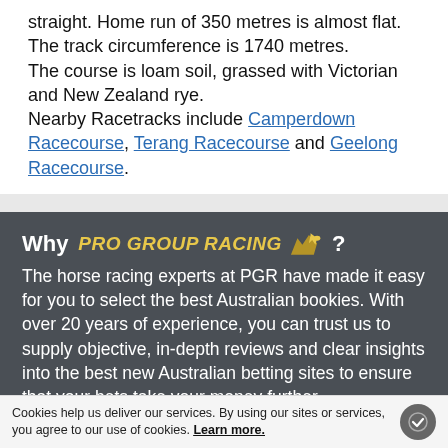straight. Home run of 350 metres is almost flat. The track circumference is 1740 metres.
The course is loam soil, grassed with Victorian and New Zealand rye.
Nearby Racetracks include Camperdown Racecourse, Terang Racecourse and Geelong Racecourse.
Why PRO GROUP RACING ? (logo)
The horse racing experts at PGR have made it easy for you to select the best Australian bookies. With over 20 years of experience, you can trust us to supply objective, in-depth reviews and clear insights into the best new Australian betting sites to ensure that your bets take your money further.
Cookies help us deliver our services. By using our sites or services, you agree to our use of cookies. Learn more.